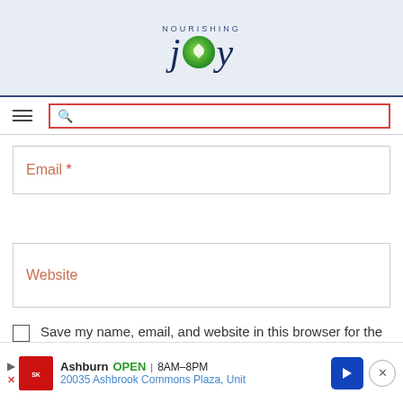[Figure (logo): Nourishing Joy blog logo with green circle containing white leaf/plant motif, styled text with 'j' and 'y' flanking the circle]
[Figure (screenshot): Navigation bar with hamburger menu icon on left and red-bordered search box on right]
Email *
Website
Save my name, email, and website in this browser for the next time I comment.
Notify me of followup comments via e-mail.
You can also subscribe without commenting.
[Figure (screenshot): Advertisement bar: Smoothie King, Ashburn OPEN 8AM-8PM, 20035 Ashbrook Commons Plaza, Unit]